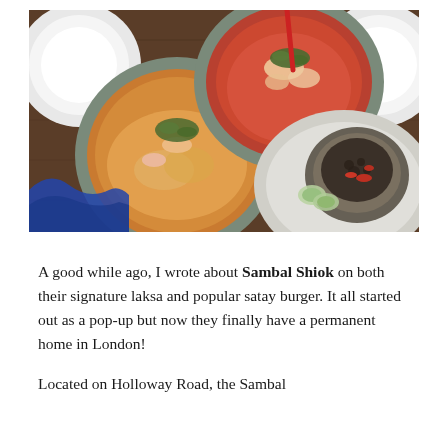[Figure (photo): Overhead view of Asian food dishes on a wooden table: two bowls of laksa (noodle curry soup) with toppings including herbs, and a plate with a stone bowl containing a dark crumbled dish with red chili pieces and sliced cucumber. White plates and bowls surround the dishes.]
A good while ago, I wrote about Sambal Shiok on both their signature laksa and popular satay burger. It all started out as a pop-up but now they finally have a permanent home in London!
Located on Holloway Road, the Sambal